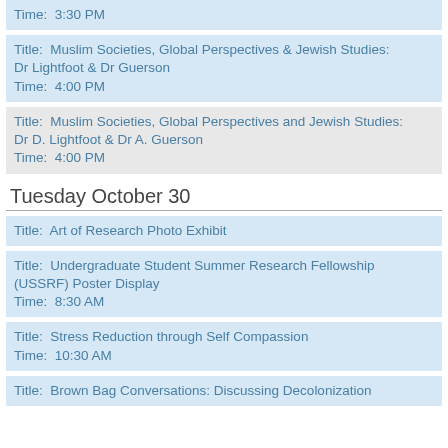Time: 3:30 PM
Title: Muslim Societies, Global Perspectives & Jewish Studies: Dr Lightfoot & Dr Guerson
Time: 4:00 PM
Title: Muslim Societies, Global Perspectives and Jewish Studies: Dr D. Lightfoot & Dr A. Guerson
Time: 4:00 PM
Tuesday October 30
Title: Art of Research Photo Exhibit
Title: Undergraduate Student Summer Research Fellowship (USSRF) Poster Display
Time: 8:30 AM
Title: Stress Reduction through Self Compassion
Time: 10:30 AM
Title: Brown Bag Conversations: Discussing Decolonization